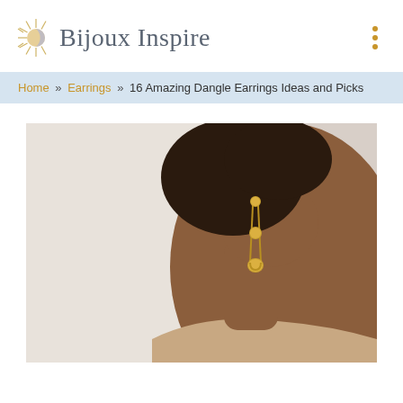Bijoux Inspire
Home » Earrings » 16 Amazing Dangle Earrings Ideas and Picks
[Figure (photo): Close-up photo of a person wearing a gold dangle earring shaped like a safety pin with gold spheres, against a light background, wearing a beige top.]